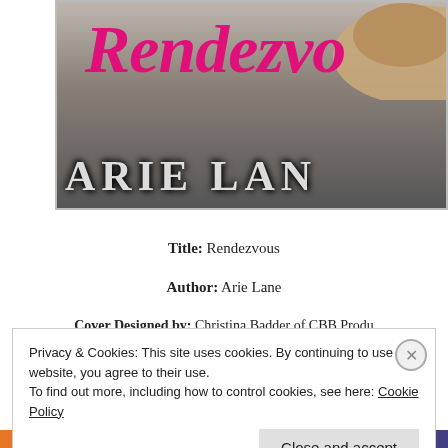[Figure (illustration): Book cover for 'Rendezvous' by Arie Lane. Shows pink italic title text 'Rendezvous' at top, a woman's torso with a brown hat visible, and author name 'ARIE LANE' in large white serif letters at the bottom of the cover image. Background is gray/stone-like.]
Title: Rendezvous
Author: Arie Lane
Cover Designed by: Christina Badder of CBB Produ...
Privacy & Cookies: This site uses cookies. By continuing to use this website, you agree to their use.
To find out more, including how to control cookies, see here: Cookie Policy
Close and accept